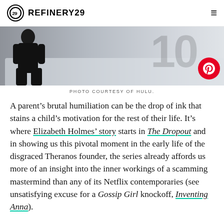REFINERY29
[Figure (photo): A person in dark clothing sitting on a white couch, with a large number in the background. A Pinterest share button overlays the image.]
PHOTO COURTESY OF HULU.
A parent’s brutal humiliation can be the drop of ink that stains a child’s motivation for the rest of their life. It’s where Elizabeth Holmes’ story starts in The Dropout and in showing us this pivotal moment in the early life of the disgraced Theranos founder, the series already affords us more of an insight into the inner workings of a scamming mastermind than any of its Netflix contemporaries (see unsatisfying excuse for a Gossip Girl knockoff, Inventing Anna).